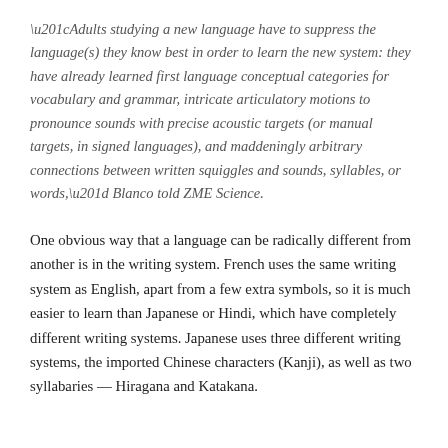“Adults studying a new language have to suppress the language(s) they know best in order to learn the new system: they have already learned first language conceptual categories for vocabulary and grammar, intricate articulatory motions to pronounce sounds with precise acoustic targets (or manual targets, in signed languages), and maddeningly arbitrary connections between written squiggles and sounds, syllables, or words,” Blanco told ZME Science.
One obvious way that a language can be radically different from another is in the writing system. French uses the same writing system as English, apart from a few extra symbols, so it is much easier to learn than Japanese or Hindi, which have completely different writing systems. Japanese uses three different writing systems, the imported Chinese characters (Kanji), as well as two syllabaries — Hiragana and Katakana.